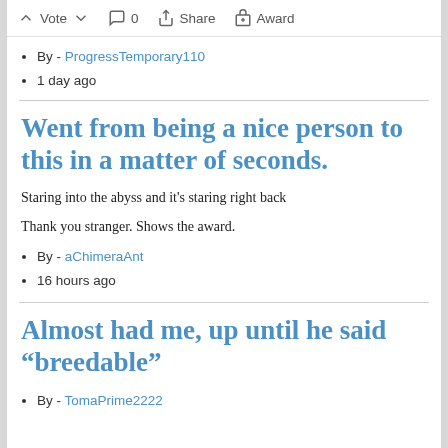Vote  0  Share  Award
By - ProgressTemporary110
1 day ago
Went from being a nice person to this in a matter of seconds.
Staring into the abyss and it's staring right back
Thank you stranger. Shows the award.
By - aChimeraAnt
16 hours ago
Almost had me, up until he said “breedable”
By - TomaPrime2222